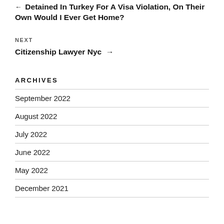Detained In Turkey For A Visa Violation, On Their Own Would I Ever Get Home?
NEXT
Citizenship Lawyer Nyc →
ARCHIVES
September 2022
August 2022
July 2022
June 2022
May 2022
December 2021